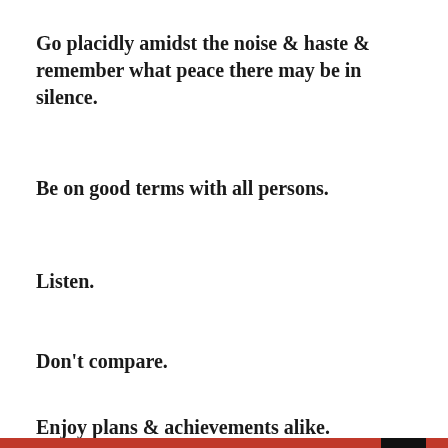Go placidly amidst the noise & haste & remember what peace there may be in silence.
Be on good terms with all persons.
Listen.
Don't compare.
Enjoy plans & achievements alike.
Be at peace with God, for whatever conception you might have...
Privacy & Cookies: This site uses cookies. By continuing to use this website, you agree to their use.
To find out more, including how to control cookies, see here: Cookie Policy